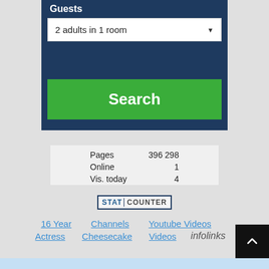Guests
2 adults in 1 room
Search
|  |  |
| --- | --- |
| Pages | 396 298 |
| Online | 1 |
| Vis. today | 4 |
[Figure (logo): StatCounter logo badge with STAT and COUNTER text]
16 Year   Channels   Youtube Videos
Actress   Cheesecake   Videos   infolinks
↑ back to top button